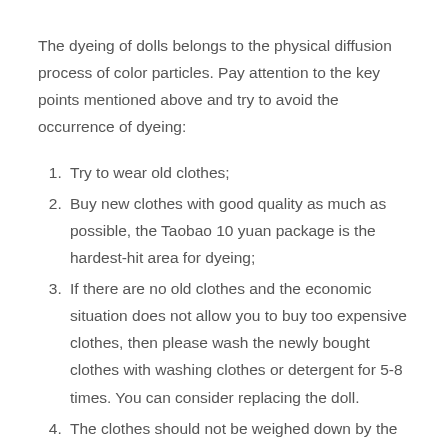The dyeing of dolls belongs to the physical diffusion process of color particles. Pay attention to the key points mentioned above and try to avoid the occurrence of dyeing:
Try to wear old clothes;
Buy new clothes with good quality as much as possible, the Taobao 10 yuan package is the hardest-hit area for dyeing;
If there are no old clothes and the economic situation does not allow you to buy too expensive clothes, then please wash the newly bought clothes with washing clothes or detergent for 5-8 times. You can consider replacing the doll.
The clothes should not be weighed down by the weight of the doll itself. Pay attention to this when posing.
Immediately change the clothes that are dyeing dangerous after taking photos to reduce the contact time.
You can consider wearing baby socks to isolate the outer clothing. Or place a light-colored cloth or restaurant paper